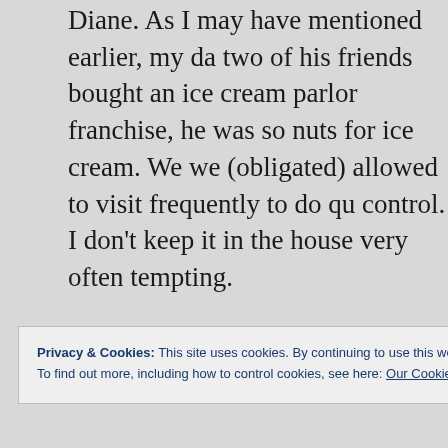Diane. As I may have mentioned earlier, my da two of his friends bought an ice cream parlor franchise, he was so nuts for ice cream. We we (obligated) allowed to visit frequently to do qu control. I don't keep it in the house very often tempting. I differ some due to the fact that I paint, rathe do creative writing. I have four full sets of acry paints even though only 10% of my paintings done in that medium- each set has a differen purpose. I have three sets of pastels. I have a l
Privacy & Cookies: This site uses cookies. By continuing to use this website, you agree to their use. To find out more, including how to control cookies, see here: Our Cookie Policy
Close and accept